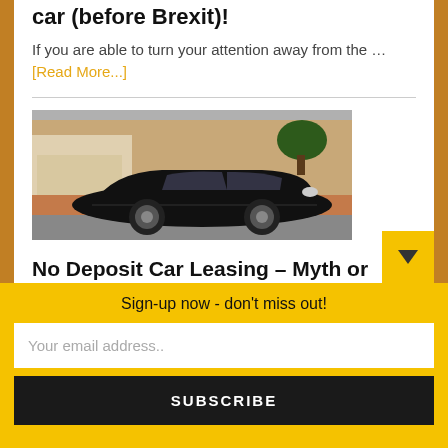car (before Brexit)!
If you are able to turn your attention away from the … [Read More...]
[Figure (photo): A black BMW 3 Series sedan parked on a residential street in front of a brick wall and garage]
No Deposit Car Leasing – Myth or Real?
Sign-up now - don't miss out!
Your email address..
SUBSCRIBE